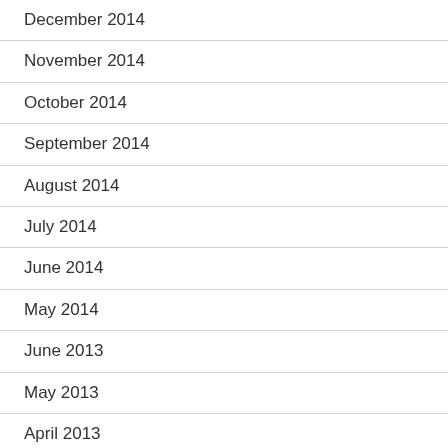December 2014
November 2014
October 2014
September 2014
August 2014
July 2014
June 2014
May 2014
June 2013
May 2013
April 2013